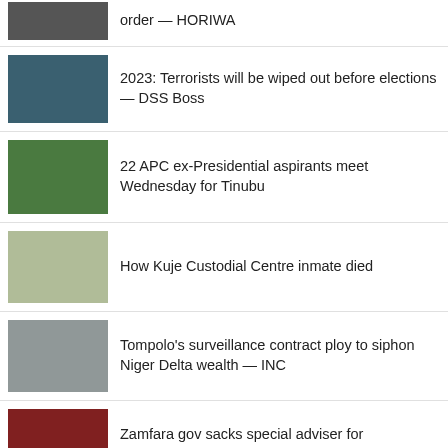order — HORIWA
2023: Terrorists will be wiped out before elections — DSS Boss
22 APC ex-Presidential aspirants meet Wednesday for Tinubu
How Kuje Custodial Centre inmate died
Tompolo's surveillance contract ploy to siphon Niger Delta wealth — INC
Zamfara gov sacks special adviser for incompetence
Okada riders storm Lagos Assembly, protest ban